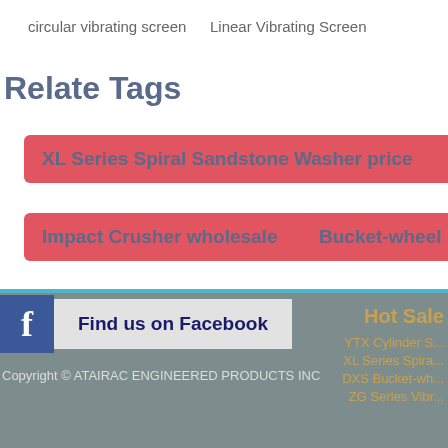circular vibrating screen
Linear Vibrating Screen
Relate Tags
XL Series Spiral Sandstone Washer price
jaw c...
Impact Crusher wholesale
Bucket-wheel Sand S...
coarse vsi crusher
PFL Vertical Complex Crus...
Find us on Facebook
Copyright © ATAIRAC ENGINEERED PRODUCTS INC
Hot Sale
YTX Cylinder S...
XL Series Spira...
DXS Bucket-wh...
ZG Series Vibr...